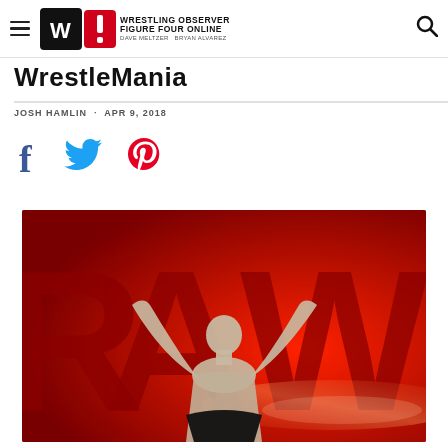Wrestling Observer Figure Four Online
WrestleMania
JOSH HAMLIN · APR 9, 2018
[Figure (photo): Brock Lesnar with arms raised in front of WWE RAW branding backdrop with red background and large RAW lettering]
[Figure (logo): Social share icons: Facebook, Twitter, Pinterest]